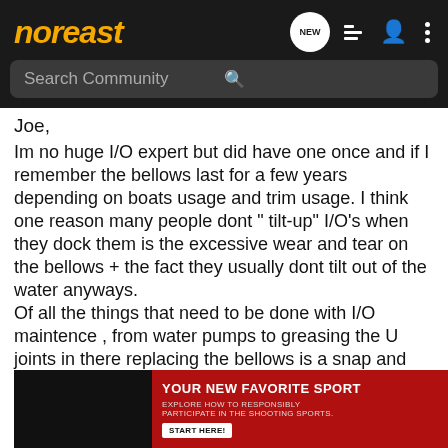noreast
Joe,
Im no huge I/O expert but did have one once and if I remember the bellows last for a few years depending on boats usage and trim usage. I think one reason many people dont " tilt-up" I/O's when they dock them is the excessive wear and tear on the bellows + the fact they usually dont tilt out of the water anyways.
Of all the things that need to be done with I/O maintence , from water pumps to greasing the U joints in there replacing the bellows is a snap and cheap. If the bellows starting to look old replace it @ winterization time next time you pull the drive, you gotta grease that puppy often + I think theres an umpella in there that needs changing.
Alan
[Figure (photo): Advertisement banner: YOUR NEW FAVORITE SPORT - EXPLORE HOW TO RESPONSIBLY PARTICIPATE IN THE SHOOTING SPORTS. START HERE!]